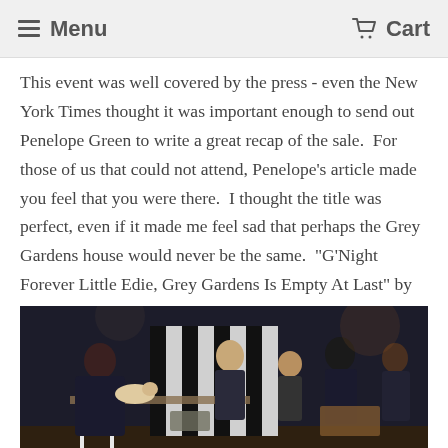Menu | Cart
This event was well covered by the press - even the New York Times thought it was important enough to send out Penelope Green to write a great recap of the sale.  For those of us that could not attend, Penelope's article made you feel that you were there.  I thought the title was perfect, even if it made me feel sad that perhaps the Grey Gardens house would never be the same.  "G'Night Forever Little Edie, Grey Gardens Is Empty At Last" by Penelope Green.  https://www.nytimes.com/2017/11/22/style/grey-gardens-estate-sale.html
[Figure (photo): People browsing an estate sale inside a house with black and white striped walls. Caption reads: G'night Forever, Little Edie!]